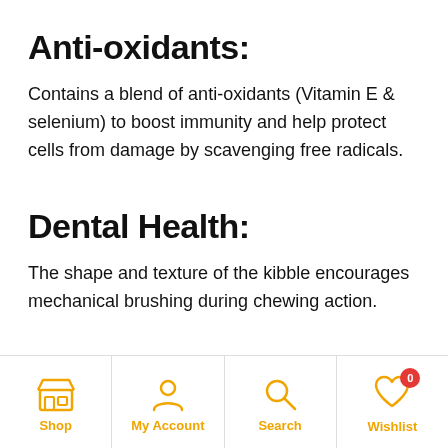Anti-oxidants:
Contains a blend of anti-oxidants (Vitamin E & selenium) to boost immunity and help protect cells from damage by scavenging free radicals.
Dental Health:
The shape and texture of the kibble encourages mechanical brushing during chewing action.
Shop | My Account | Search | Wishlist (0)